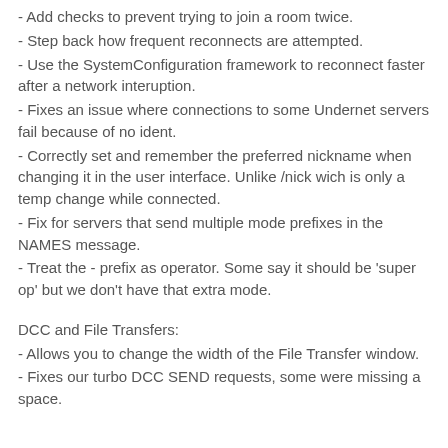- Add checks to prevent trying to join a room twice.
- Step back how frequent reconnects are attempted.
- Use the SystemConfiguration framework to reconnect faster after a network interuption.
- Fixes an issue where connections to some Undernet servers fail because of no ident.
- Correctly set and remember the preferred nickname when changing it in the user interface. Unlike /nick wich is only a temp change while connected.
- Fix for servers that send multiple mode prefixes in the NAMES message.
- Treat the - prefix as operator. Some say it should be 'super op' but we don't have that extra mode.
DCC and File Transfers:
- Allows you to change the width of the File Transfer window.
- Fixes our turbo DCC SEND requests, some were missing a space.